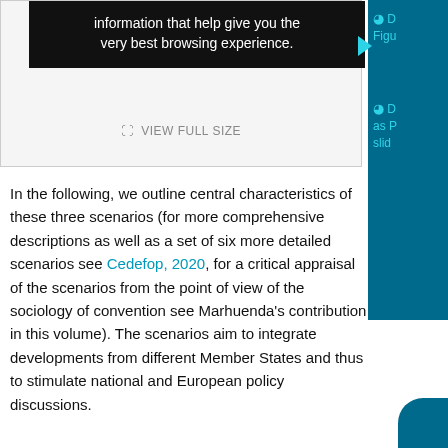[Figure (screenshot): Dark tooltip overlay on a webpage screenshot showing cookie/browsing experience message, with VIEW FULL SIZE button below]
In the following, we outline central characteristics of these three scenarios (for more comprehensive descriptions as well as a set of six more detailed scenarios see Cedefop, 2020, for a critical appraisal of the scenarios from the point of view of the sociology of convention see Marhuenda's contribution in this volume). The scenarios aim to integrate developments from different Member States and thus to stimulate national and European policy discussions.